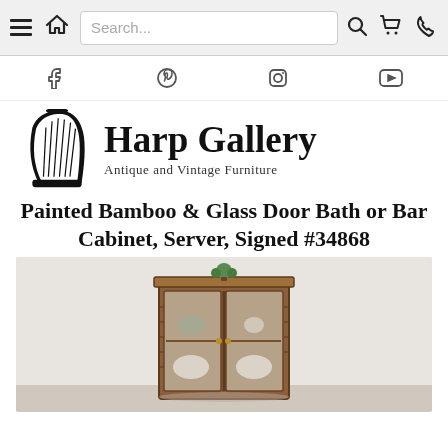Navigation bar with hamburger, home, search, search icon, cart, phone
Social icons: Facebook, Pinterest, Instagram, YouTube
[Figure (logo): Harp Gallery logo: harp icon with text 'Harp Gallery' and subtitle 'Antique and Vintage Furniture']
Painted Bamboo & Glass Door Bath or Bar Cabinet, Server, Signed #34868
[Figure (photo): Photo of a painted bamboo and glass door cabinet/server with two glass doors and shelves inside, displayed against a white wall with a small green plant on top]